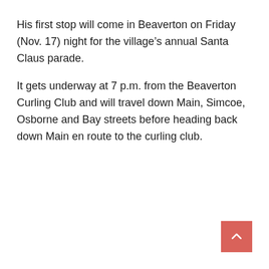His first stop will come in Beaverton on Friday (Nov. 17) night for the village’s annual Santa Claus parade.
It gets underway at 7 p.m. from the Beaverton Curling Club and will travel down Main, Simcoe, Osborne and Bay streets before heading back down Main en route to the curling club.